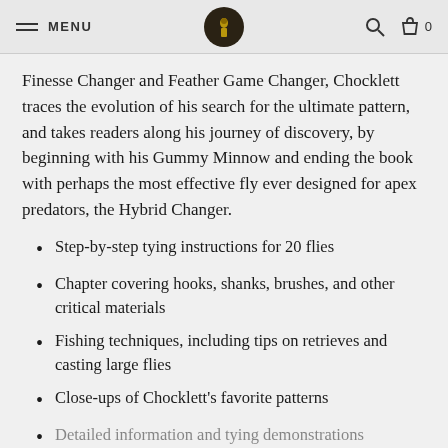MENU
Finesse Changer and Feather Game Changer, Chocklett traces the evolution of his search for the ultimate pattern, and takes readers along his journey of discovery, by beginning with his Gummy Minnow and ending the book with perhaps the most effective fly ever designed for apex predators, the Hybrid Changer.
Step-by-step tying instructions for 20 flies
Chapter covering hooks, shanks, brushes, and other critical materials
Fishing techniques, including tips on retrieves and casting large flies
Close-ups of Chocklett's favorite patterns
Detailed information and tying demonstrations